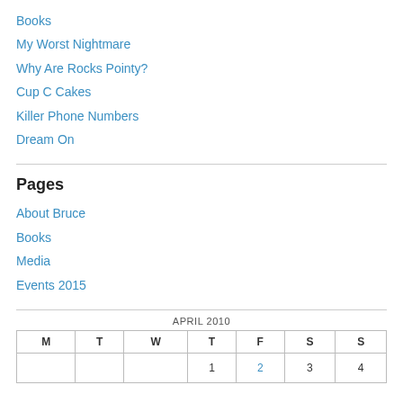Books
My Worst Nightmare
Why Are Rocks Pointy?
Cup C Cakes
Killer Phone Numbers
Dream On
Pages
About Bruce
Books
Media
Events 2015
| M | T | W | T | F | S | S |
| --- | --- | --- | --- | --- | --- | --- |
|  |  |  | 1 | 2 | 3 | 4 |